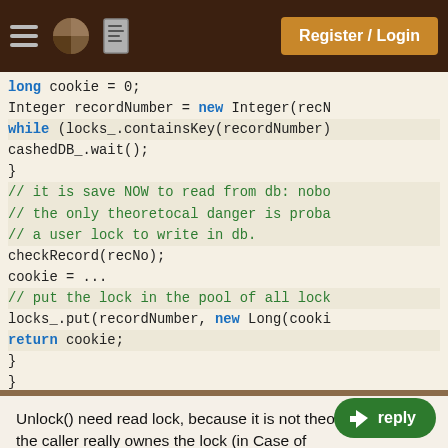Register / Login
[Figure (screenshot): Code snippet showing Java synchronization code with while loop, containsKey, wait, checkRecord, cookie assignment, locks_.put, and return cookie statements. Comments in green explain thread safety.]
Unlock() need read lock, because it is not theotically clear if the caller really ownes the lock (in Case of SecurityException).
Regards,
Vlad